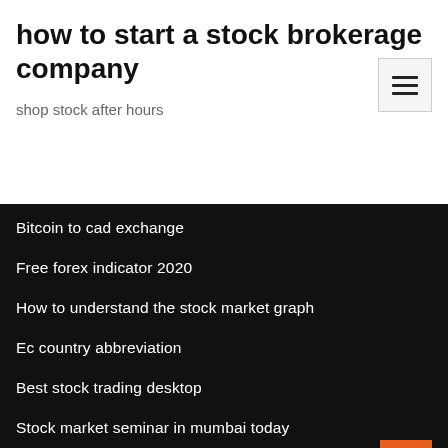how to start a stock brokerage company
shop stock after hours
Bitcoin to cad exchange
Free forex indicator 2020
How to understand the stock market graph
Ec country abbreviation
Best stock trading desktop
Stock market seminar in mumbai today
Best stock trading podcasts for beginners
Wdr stock price
What is gold used for besides jewelry